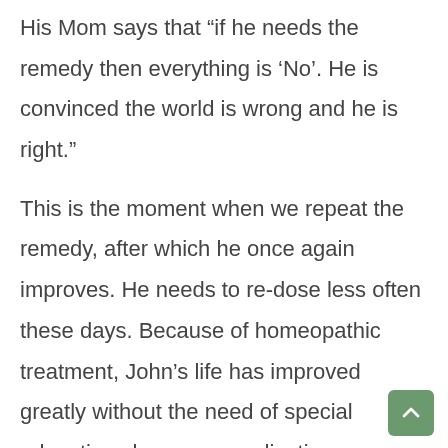His Mom says that “if he needs the remedy then everything is ‘No’. He is convinced the world is wrong and he is right.”

This is the moment when we repeat the remedy, after which he once again improves. He needs to re-dose less often these days. Because of homeopathic treatment, John’s life has improved greatly without the need of special education classes or medication.